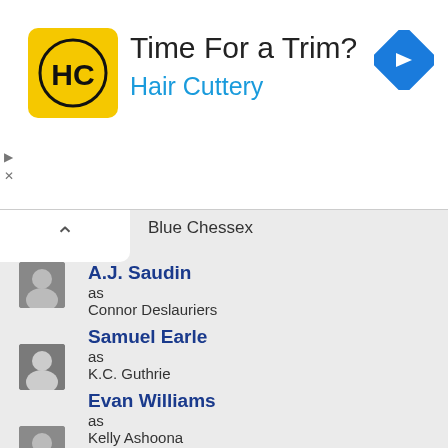[Figure (illustration): Hair Cuttery advertisement banner with yellow HC logo, text 'Time For a Trim?' and 'Hair Cuttery' in blue, and a blue navigation arrow icon on the right.]
Blue Chessex
A.J. Saudin as Connor Deslauriers
Samuel Earle as K.C. Guthrie
Evan Williams as Kelly Ashoona
Judy Jiao as Leia Chang
Argiris Karras as Riley Stavros